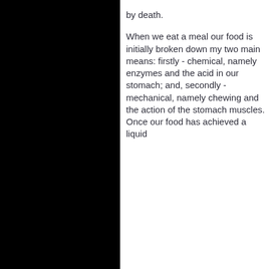by death.
When we eat a meal our food is initially broken down my two main means: firstly - chemical, namely enzymes and the acid in our stomach; and, secondly - mechanical, namely chewing and the action of the stomach muscles. Once our food has achieved a liquid